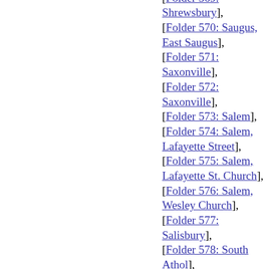Shrewsbury], [Folder 569: Shrewsbury], [Folder 570: Saugus, East Saugus], [Folder 571: Saxonville], [Folder 572: Saxonville], [Folder 573: Salem], [Folder 574: Salem, Lafayette Street], [Folder 575: Salem, Lafayette St. Church], [Folder 576: Salem, Wesley Church], [Folder 577: Salisbury], [Folder 578: South Athol], [Folder 579: South Boston, Barham Memorial], [Folder 580: South Boston, City Point Church; Wesley Church; St. John's Church; Church of Our Savior],